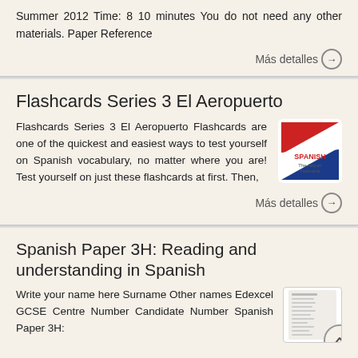Summer 2012 Time: 8 10 minutes You do not need any other materials. Paper Reference
Más detalles →
Flashcards Series 3 El Aeropuerto
Flashcards Series 3 El Aeropuerto Flashcards are one of the quickest and easiest ways to test yourself on Spanish vocabulary, no matter where you are! Test yourself on just these flashcards at first. Then,
Más detalles →
Spanish Paper 3H: Reading and understanding in Spanish
Write your name here Surname Other names Edexcel GCSE Centre Number Candidate Number Spanish Paper 3H: